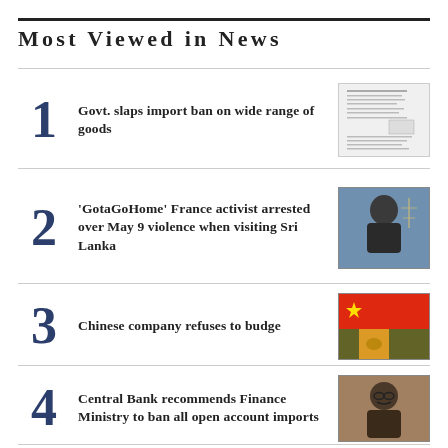Most Viewed in News
1. Govt. slaps import ban on wide range of goods
2. 'GotaGoHome' France activist arrested over May 9 violence when visiting Sri Lanka
3. Chinese company refuses to budge
4. Central Bank recommends Finance Ministry to ban all open account imports